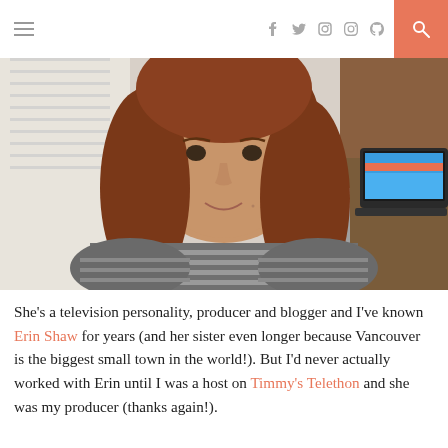≡  f  twitter  instagram  pinterest  🔍
[Figure (photo): Young woman with curly auburn hair wearing a striped top, smiling at camera in a bright office setting with a laptop visible in the background]
She's a television personality, producer and blogger and I've known Erin Shaw for years (and her sister even longer because Vancouver is the biggest small town in the world!). But I'd never actually worked with Erin until I was a host on Timmy's Telethon and she was my producer (thanks again!).